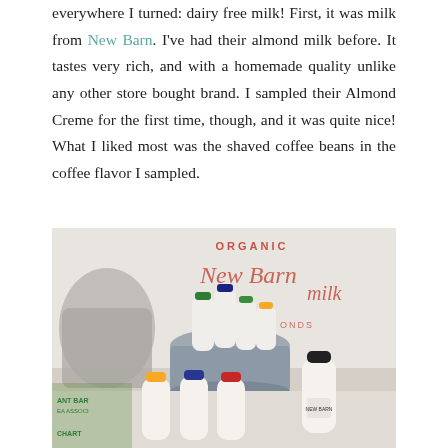everywhere I turned: dairy free milk! First, it was milk from New Barn. I've had their almond milk before. It tastes very rich, and with a homemade quality unlike any other store bought brand. I sampled their Almond Creme for the first time, though, and it was quite nice! What I liked most was the shaved coffee beans in the coffee flavor I sampled.
[Figure (photo): Photo of New Barn organic almond milk bottles with colorful caps displayed in a metal bucket and on a table at what appears to be a trade show or market event, with a branded backdrop reading 'ORGANIC milk' and 'New Barn almonds'.]